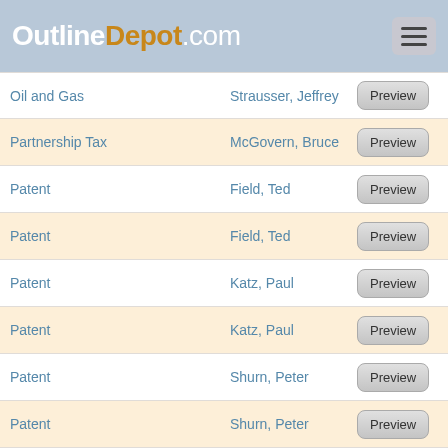OutlineDepot.com
| Subject | Author | Action |
| --- | --- | --- |
| Oil and Gas | Strausser, Jeffrey | Preview |
| Partnership Tax | McGovern, Bruce | Preview |
| Patent | Field, Ted | Preview |
| Patent | Field, Ted | Preview |
| Patent | Katz, Paul | Preview |
| Patent | Katz, Paul | Preview |
| Patent | Shurn, Peter | Preview |
| Patent | Shurn, Peter | Preview |
| Payment Systems | East, W. David | Preview |
| Payment Systems | East, W. David | Preview |
| Payment Systems | East, W. David | Preview |